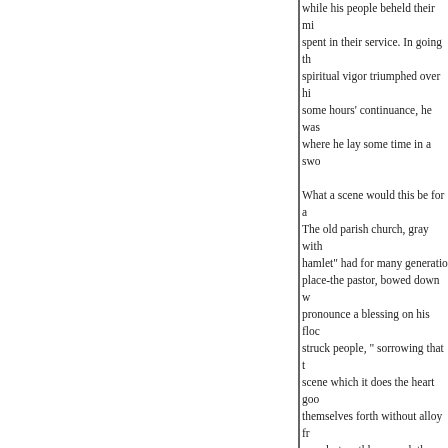while his people beheld their mi spent in their service. In going th spiritual vigor triumphed over hi some hours' continuance, he was where he lay some time in a swo
What a scene would this be for a The old parish church, gray with hamlet" had for many generatio place-the pastor, bowed down w pronounce a blessing on his floc struck people, " sorrowing that t scene which it does the heart goo themselves forth without alloy fr proudest earthly reward, the bitte unrestrained, because the time o from the work, we feel that it wo the good man meets his fate," an
" 'The death bed of this excell equally instructive with any part delightful theme while in health, placed in any state of Christian e in which he had been enabled to atonement of the Redeemer.